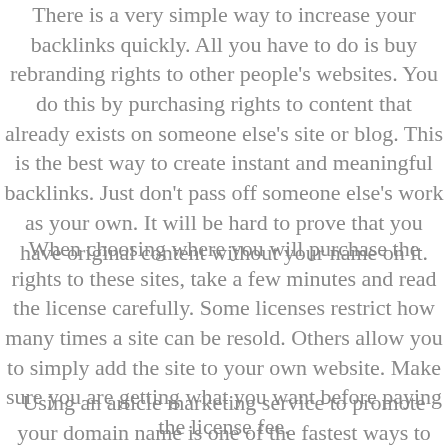There is a very simple way to increase your backlinks quickly. All you have to do is buy rebranding rights to other people's websites. You do this by purchasing rights to content that already exists on someone else's site or blog. This is the best way to create instant and meaningful backlinks. Just don't pass off someone else's work as your own. It will be hard to prove that you have original content without your name on it.
When choosing where you will purchase the rights to these sites, take a few minutes and read the license carefully. Some licenses restrict how many times a site can be resold. Others allow you to simply add the site to your own website. Make sure you are getting what you want before paying the license fee.
Using an article marketing service to promote your domain name is one of the fastest ways to get lots of backlinks quickly. The article directories that these services frequently post articles on have very high